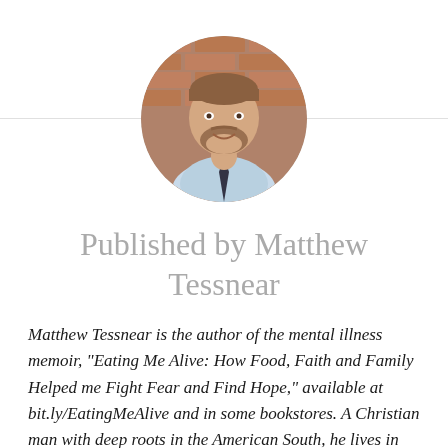[Figure (photo): Circular portrait photo of Matthew Tessnear, a man with a beard wearing a light blue checkered shirt and dark tie, standing in front of a brick wall background.]
Published by Matthew Tessnear
Matthew Tessnear is the author of the mental illness memoir, "Eating Me Alive: How Food, Faith and Family Helped me Fight Fear and Find Hope," available at bit.ly/EatingMeAlive and in some bookstores. A Christian man with deep roots in the American South, he lives in